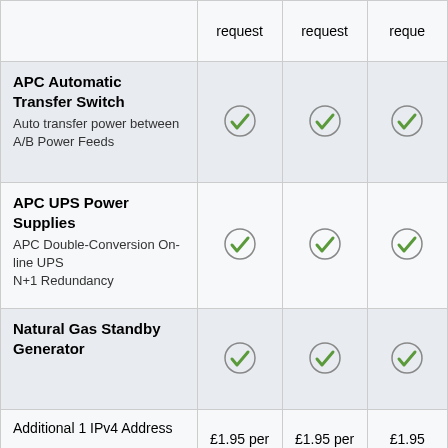| Feature | Col1 | Col2 | Col3 |
| --- | --- | --- | --- |
|  | request | request | reque... |
| APC Automatic Transfer Switch
Auto transfer power between A/B Power Feeds | ✓ | ✓ | ✓ |
| APC UPS Power Supplies
APC Double-Conversion On-line UPS
N+1 Redundancy | ✓ | ✓ | ✓ |
| Natural Gas Standby Generator | ✓ | ✓ | ✓ |
| Additional 1 IPv4 Address | £1.95 per month | £1.95 per month | £1.95 mon... |
| 1U Low Power Device 0.2 amp
For Router, Firewall or | £19.95 per month | £19.95 per month | £19.95... |